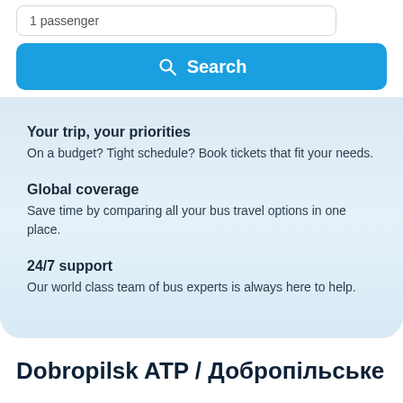1 passenger
Search
Your trip, your priorities
On a budget? Tight schedule? Book tickets that fit your needs.
Global coverage
Save time by comparing all your bus travel options in one place.
24/7 support
Our world class team of bus experts is always here to help.
Dobropilsk ATP / Добропільське